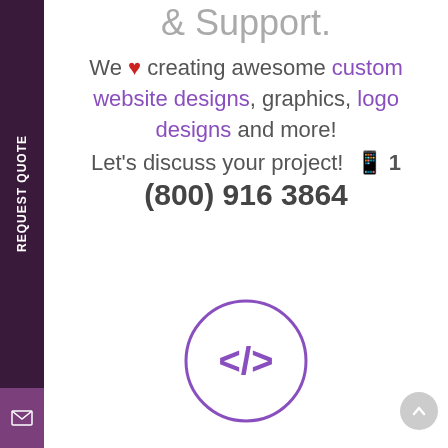& Support.
We ❤ creating awesome custom website designs, graphics, logo designs and more! Let's discuss your project! 📱 1 (800) 916 3864
[Figure (illustration): Purple circle with a code tag icon (</>) inside, representing web development services]
Request Quote
✉ (email icon sidebar button)